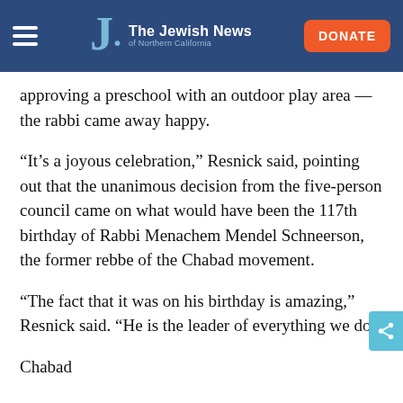The Jewish News of Northern California
approving a preschool with an outdoor play area — the rabbi came away happy.
“It’s a joyous celebration,” Resnick said, pointing out that the unanimous decision from the five-person council came on what would have been the 117th birthday of Rabbi Menachem Mendel Schneerson, the former rebbe of the Chabad movement.
“The fact that it was on his birthday is amazing,” Resnick said. “He is the leader of everything we do.”
Chabad...